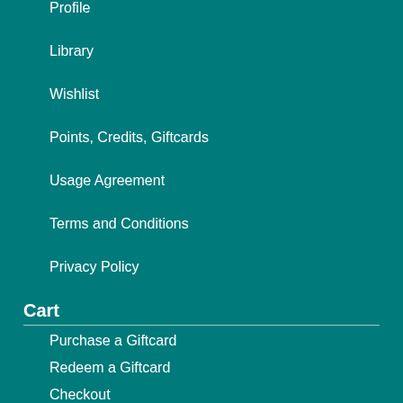Profile
Library
Wishlist
Points, Credits, Giftcards
Usage Agreement
Terms and Conditions
Privacy Policy
Cart
Purchase a Giftcard
Redeem a Giftcard
Checkout
Products